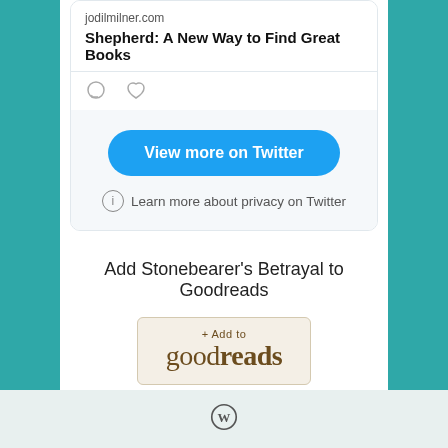jodilmilner.com
Shepherd: A New Way to Find Great Books
[Figure (screenshot): Tweet card with comment and heart icons]
[Figure (screenshot): Blue rounded button reading 'View more on Twitter']
Learn more about privacy on Twitter
Add Stonebearer's Betrayal to Goodreads
[Figure (logo): Goodreads '+Add to goodreads' button with beige background]
[Figure (logo): WordPress logo in footer]